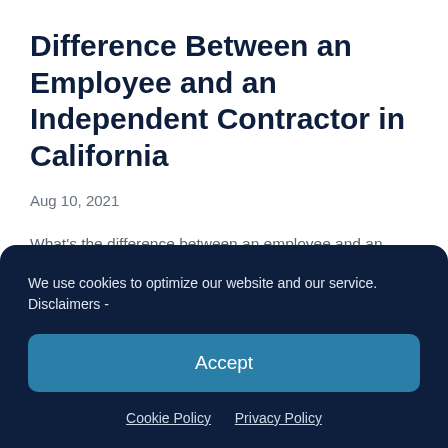Difference Between an Employee and an Independent Contractor in California
Aug 10, 2021
What's the difference between an employee and an independent contractor in California? When you're talking about someone who works for a business, there are many names that you could call them. Employee, worker, contractor, and so much more. But are these…
We use cookies to optimize our website and our service. Disclaimers -
Accept
Cookie Policy  Privacy Policy